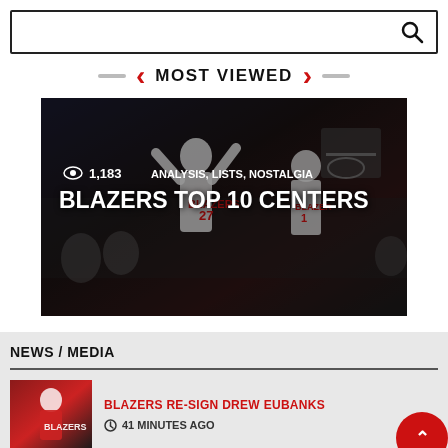[Figure (screenshot): Search bar with magnifying glass icon]
MOST VIEWED
[Figure (photo): Basketball players in Portland Trail Blazers uniforms (#27 and #1) celebrating, dark background. Overlaid text: 1,183 views, ANALYSIS, LISTS, NOSTALGIA, BLAZERS TOP 10 CENTERS]
NEWS / MEDIA
[Figure (photo): Thumbnail of a basketball player in red Blazers jersey]
BLAZERS RE-SIGN DREW EUBANKS
41 MINUTES AGO